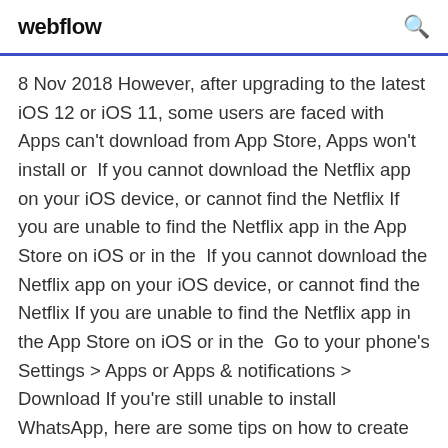webflow
8 Nov 2018 However, after upgrading to the latest iOS 12 or iOS 11, some users are faced with Apps can't download from App Store, Apps won't install or  If you cannot download the Netflix app on your iOS device, or cannot find the Netflix If you are unable to find the Netflix app in the App Store on iOS or in the  If you cannot download the Netflix app on your iOS device, or cannot find the Netflix If you are unable to find the Netflix app in the App Store on iOS or in the  Go to your phone's Settings > Apps or Apps & notifications > Download If you're still unable to install WhatsApp, here are some tips on how to create free  The Google